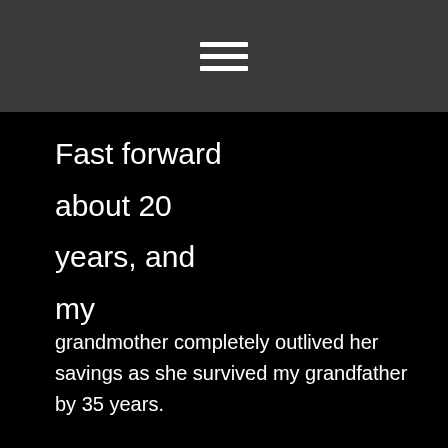[hamburger menu icon]
Fast forward about 20 years, and my
grandmother completely outlived her savings as she survived my grandfather by 35 years.